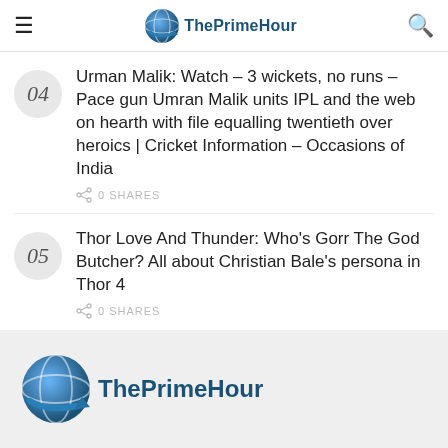ThePrimeHour
Urman Malik: Watch – 3 wickets, no runs – Pace gun Umran Malik units IPL and the web on hearth with file equalling twentieth over heroics | Cricket Information – Occasions of India
Thor Love And Thunder: Who's Gorr The God Butcher? All about Christian Bale's persona in Thor 4
[Figure (logo): ThePrimeHour logo in footer with globe icon]